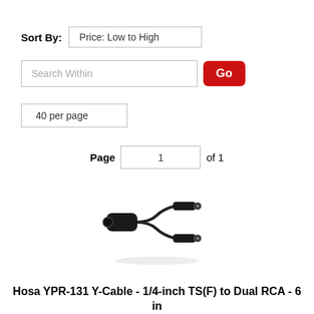Sort By: Price: Low to High
Search Within   Go
40 per page
Page 1 of 1
[Figure (photo): A black Y-cable with a 1/4-inch TS female connector on one end splitting into two RCA male connectors on the other end.]
Hosa YPR-131 Y-Cable - 1/4-inch TS(F) to Dual RCA - 6 in